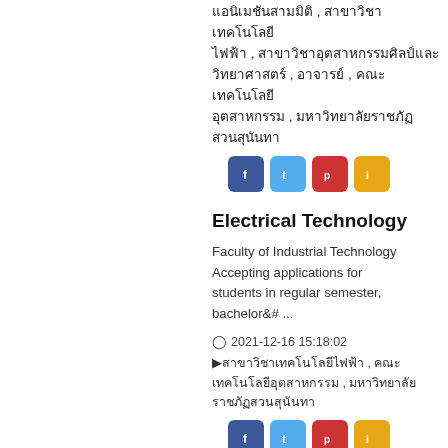แอนิเมชันสามมิติ , สาขาวิชาเทคโนโลยีไฟฟ้า , สาขาวิชาอุตสาหกรรมศิลป์และวิทยาศาสตร์ , อาจารย์ , คณะเทคโนโลยีอุตสาหกรรม , มหาวิทยาลัยราชภัฏสวนสุนันทา
[Figure (infographic): Four social media share buttons: Facebook (blue), Twitter (light blue), YouTube (red), RSS (orange/yellow)]
Electrical Technology
Faculty of Industrial Technology Accepting applications for students in regular semester, bachelor&# ...
2021-12-16 15:18:02
สาขาวิชาเทคโนโลยีไฟฟ้า , คณะเทคโนโลยีอุตสาหกรรม , มหาวิทยาลัยราชภัฏสวนสุนันทา
[Figure (infographic): Four social media share buttons: Facebook (blue), Twitter (light blue), YouTube (red), RSS (orange/yellow)]
Electrical Technology